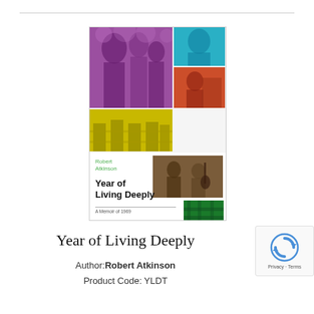[Figure (illustration): Book cover for 'Year of Living Deeply: A Memoir of 1969' by Robert Atkinson. Cover features a collage of six colorized photographs: purple-tinted group of people, cyan-tinted portrait of a man, red-tinted person with machinery, yellow-tinted scene with chairs, sepia-tinted person with instrument, and green-tinted outdoor scene. Author name in green text, title in bold black, subtitle 'A Memoir of 1969' below a horizontal rule.]
Year of Living Deeply
Author: Robert Atkinson
Product Code: YLDT